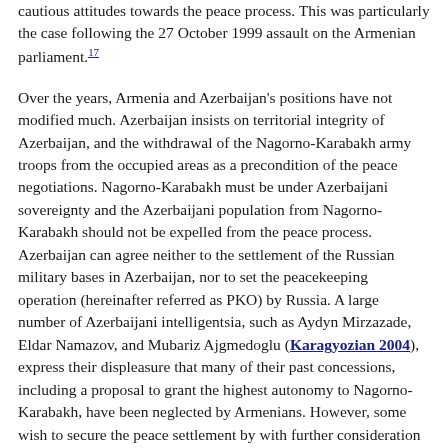cautious attitudes towards the peace process. This was particularly the case following the 27 October 1999 assault on the Armenian parliament.17
Over the years, Armenia and Azerbaijan’s positions have not modified much. Azerbaijan insists on territorial integrity of Azerbaijan, and the withdrawal of the Nagorno-Karabakh army troops from the occupied areas as a precondition of the peace negotiations. Nagorno-Karabakh must be under Azerbaijani sovereignty and the Azerbaijani population from Nagorno-Karabakh should not be expelled from the peace process. Azerbaijan can agree neither to the settlement of the Russian military bases in Azerbaijan, nor to set the peacekeeping operation (hereinafter referred as PKO) by Russia. A large number of Azerbaijani intelligentsia, such as Aydyn Mirzazade, Eldar Namazov, and Mubariz Ajgmedoglu (Karagyozian 2004), express their displeasure that many of their past concessions, including a proposal to grant the highest autonomy to Nagorno-Karabakh, have been neglected by Armenians. However, some wish to secure the peace settlement by with further consideration of the question of human rights.
As far as the popular opinion of the Azeri, it is not simple. Some people tend to treat Armenia as good friends from the Soviet period and do not have a negative opinion of them. Nevertheless,